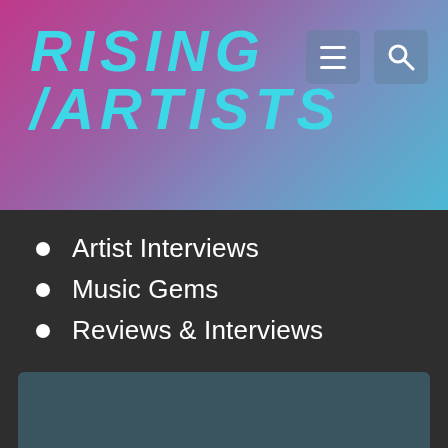RISING ARTISTS
Artist Interviews
Music Gems
Reviews & Interviews
Rising Artist Reviews
Universal Music Collaboration